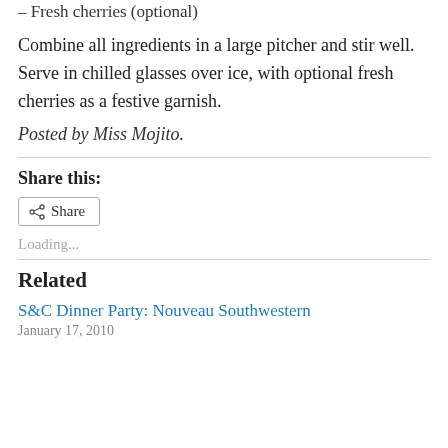Fresh cherries (optional)
Combine all ingredients in a large pitcher and stir well. Serve in chilled glasses over ice, with optional fresh cherries as a festive garnish.
Posted by Miss Mojito.
Share this:
Share
Loading...
Related
S&C Dinner Party: Nouveau Southwestern
January 17, 2010